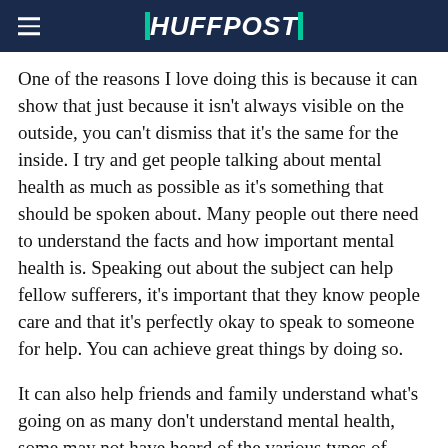HUFFPOST
One of the reasons I love doing this is because it can show that just because it isn't always visible on the outside, you can't dismiss that it's the same for the inside. I try and get people talking about mental health as much as possible as it's something that should be spoken about. Many people out there need to understand the facts and how important mental health is. Speaking out about the subject can help fellow sufferers, it's important that they know people care and that it's perfectly okay to speak to someone for help. You can achieve great things by doing so.
It can also help friends and family understand what's going on as many don't understand mental health, some may not have heard of the various types of